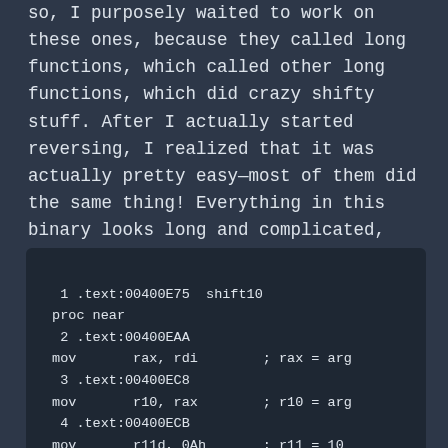so, I purposely waited to work on these ones, because they called long functions, which called other long functions, which did crazy shifty stuff. After I actually started reversing, I realized that it was actually pretty easy—most of them did the same thing! Everything in this binary looks long and complicated, though.

Let's start with one of the innermost functions. Removing all the crap, it does this:
[Figure (screenshot): Code block showing assembly listing: shift10 proc near with mov instructions for rax, r10, r11d with inline comments]